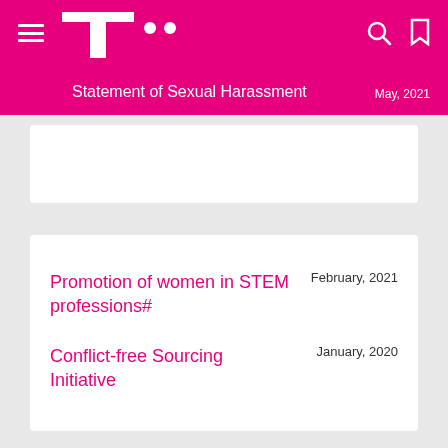Statement of Sexual Harassment | May, 2021
May, 2021
Promotion of women in STEM professions#
February, 2021
Conflict-free Sourcing Initiative
January, 2020